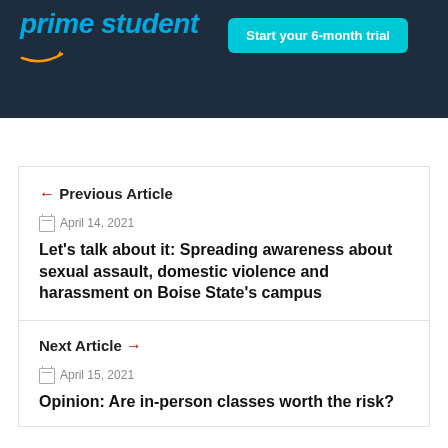[Figure (screenshot): Amazon Prime Student advertisement banner showing 'prime student' text in blue with Amazon arrow logo and a cyan 'Start your 6-month trial' button on dark navy background]
← Previous Article
April 14, 2021
Let's talk about it: Spreading awareness about sexual assault, domestic violence and harassment on Boise State's campus
Next Article →
April 15, 2021
Opinion: Are in-person classes worth the risk?